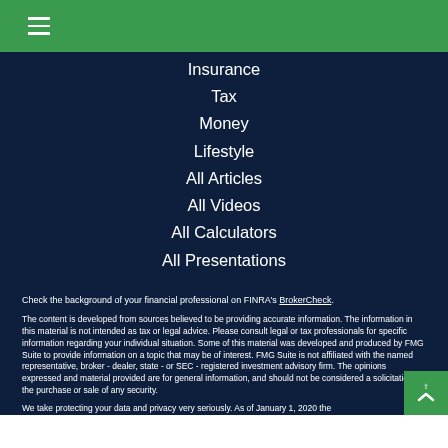Insurance
Tax
Money
Lifestyle
All Articles
All Videos
All Calculators
All Presentations
Check the background of your financial professional on FINRA's BrokerCheck.
The content is developed from sources believed to be providing accurate information. The information in this material is not intended as tax or legal advice. Please consult legal or tax professionals for specific information regarding your individual situation. Some of this material was developed and produced by FMG Suite to provide information on a topic that may be of interest. FMG Suite is not affiliated with the named representative, broker - dealer, state - or SEC - registered investment advisory firm. The opinions expressed and material provided are for general information, and should not be considered a solicitation for the purchase or sale of any security.
We take protecting your data and privacy very seriously. As of January 1, 2020 the